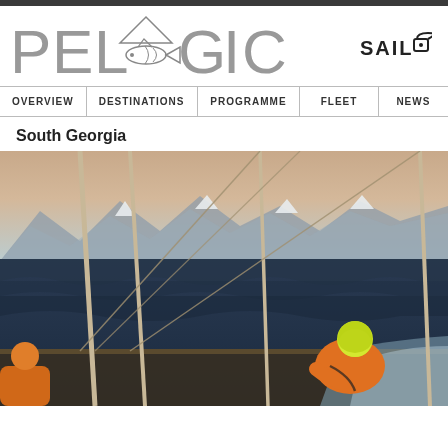PELAGIC
| OVERVIEW | DESTINATIONS | PROGRAMME | FLEET | NEWS |
| --- | --- | --- | --- | --- |
South Georgia
[Figure (photo): A sailor in an orange jacket and bright yellow hood sits on the deck of a sailing vessel underway in rough seas, with snow-capped mountains visible on the horizon in the background. The boat's masts and rigging are visible, and white wake is visible at the stern.]